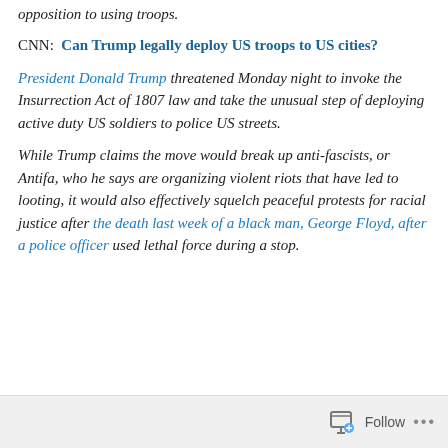opposition to using troops.
CNN: Can Trump legally deploy US troops to US cities?
President Donald Trump threatened Monday night to invoke the Insurrection Act of 1807 law and take the unusual step of deploying active duty US soldiers to police US streets.
While Trump claims the move would break up anti-fascists, or Antifa, who he says are organizing violent riots that have led to looting, it would also effectively squelch peaceful protests for racial justice after the death last week of a black man, George Floyd, after a police officer used lethal force during a stop.
Follow ...